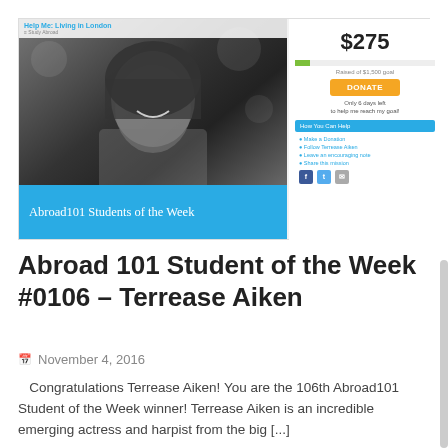[Figure (screenshot): Screenshot of a crowdfunding page titled 'Help Me: Living in London' featuring a black-and-white photo of Terrease Aiken smiling, with 'Abroad101 Students of the Week' text overlay on a teal band, and a fundraising sidebar showing $275 raised with a donate button.]
Abroad 101 Student of the Week #0106 – Terrease Aiken
November 4, 2016
Congratulations Terrease Aiken! You are the 106th Abroad101 Student of the Week winner! Terrease Aiken is an incredible emerging actress and harpist from the big [...]